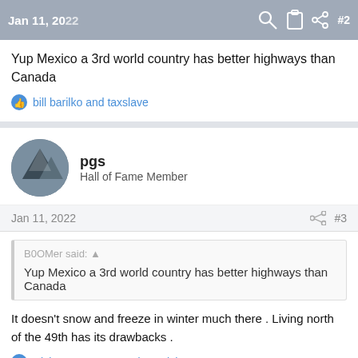Jan 11, 2022  #2
Yup Mexico a 3rd world country has better highways than Canada
bill barilko and taxslave
pgs
Hall of Fame Member
Jan 11, 2022  #3
B0OMer said:
Yup Mexico a 3rd world country has better highways than Canada
It doesn't snow and freeze in winter much there . Living north of the 49th has its drawbacks .
Dixie Cup, petros and Mowich
taxslave